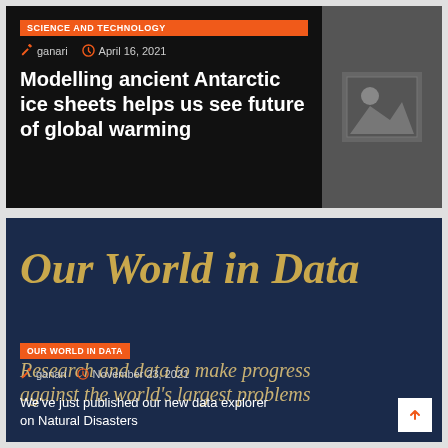[Figure (screenshot): Article card 1 with black background, placeholder image top-right, Science and Technology badge, author ganari and date April 16 2021, and article title about Antarctic ice sheets]
[Figure (screenshot): Article card 2 with dark navy background, Our World in Data title in gold italic serif font, OUR WORLD IN DATA badge, author ganari and date November 23 2021, research and data tagline, and snippet about Natural Disasters data explorer]